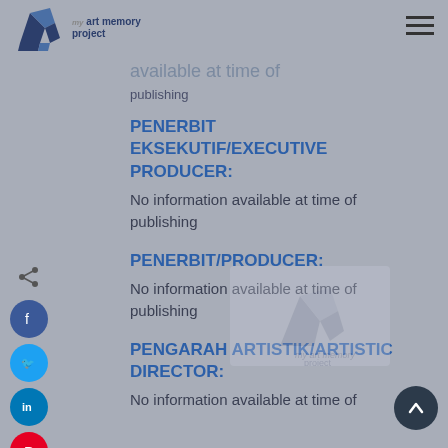art memory project
publishing
PENERBIT EKSEKUTIF/EXECUTIVE PRODUCER:
No information available at time of publishing
PENERBIT/PRODUCER:
No information available at time of publishing
PENGARAH ARTISTIK/ARTISTIC DIRECTOR:
No information available at time of